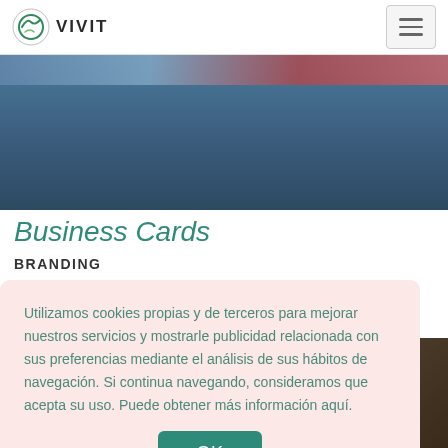VIVIT
[Figure (photo): Hero image showing business cards on a dark blue/slate background with colorful elements at the top]
Business Cards
BRANDING
Utilizamos cookies propias y de terceros para mejorar nuestros servicios y mostrarle publicidad relacionada con sus preferencias mediante el análisis de sus hábitos de navegación. Si continua navegando, consideramos que acepta su uso. Puede obtener más información aquí.
[Figure (photo): Bottom right partial photo showing books or shelves in dark tones with shutterstock watermark]